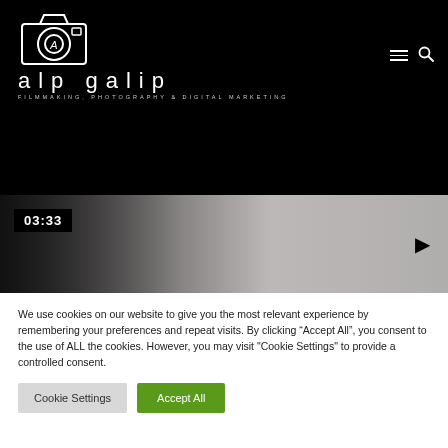[Figure (logo): Alp Galip logo with camera icon, text 'alp galip' and subtitle 'FILMMAKING, PHOTOGRAPHY & DIGITAL MARKETING']
[Figure (screenshot): Video player showing timestamp 03:33 and a play button on the right, dark to gray gradient background]
We use cookies on our website to give you the most relevant experience by remembering your preferences and repeat visits. By clicking “Accept All”, you consent to the use of ALL the cookies. However, you may visit "Cookie Settings" to provide a controlled consent.
Cookie Settings
Accept All